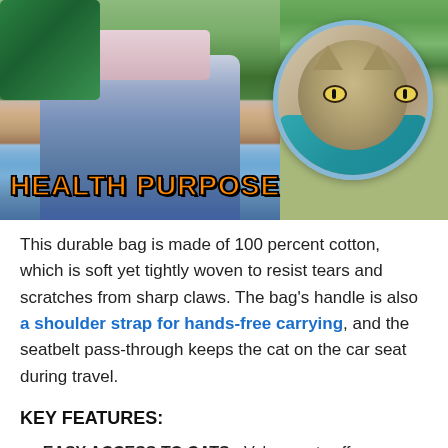[Figure (photo): Product photo showing a person holding a cat grooming/restraint bag. Main image shows person in jeans and pink shirt holding a green bag. Circular inset shows a tabby cat being examined/treated in a teal cloth bag. Large orange text 'HEALTH PURPOSE' overlaid on the bottom of the image.]
This durable bag is made of 100 percent cotton, which is soft yet tightly woven to resist tears and scratches from sharp claws. The bag's handle is also a shoulder strap for hands-free carrying, and the seatbelt pass-through keeps the cat on the car seat during travel.
KEY FEATURES:
EASY ACCESS TO CATS - Velcro ports offer easy access to the cat's front feet, and